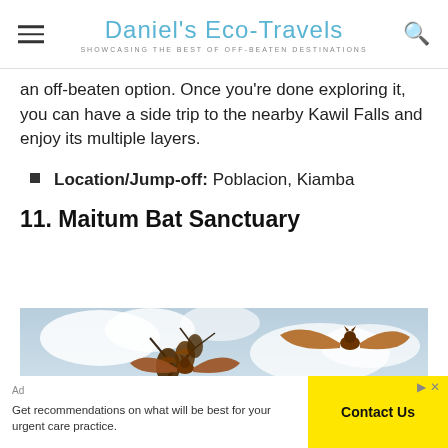Daniel's Eco-Travels — SHOWCASING THE BEST OF OFF-BEATEN DESTINATIONS
an off-beaten option. Once you're done exploring it, you can have a side trip to the nearby Kawil Falls and enjoy its multiple layers.
Location/Jump-off: Poblacion, Kiamba
11. Maitum Bat Sanctuary
[Figure (photo): Two large fruit bats flying against a cloudy sky, with more bats roosting in tree branches below]
[Figure (other): Advertisement overlay: 'Get recommendations on what will be best for your urgent care practice.' with a yellow 'Contact Us' button and ad close controls]